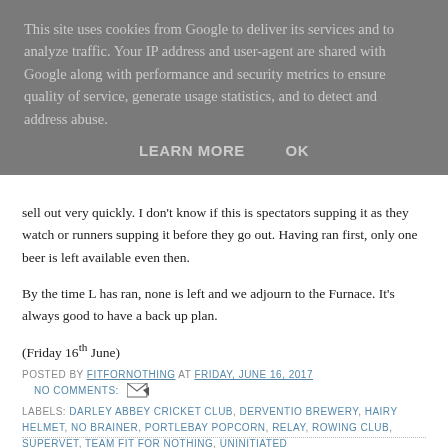This site uses cookies from Google to deliver its services and to analyze traffic. Your IP address and user-agent are shared with Google along with performance and security metrics to ensure quality of service, generate usage statistics, and to detect and address abuse.
LEARN MORE   OK
sell out very quickly. I don't know if this is spectators supping it as they watch or runners supping it before they go out. Having ran first, only one beer is left available even then.
By the time L has ran, none is left and we adjourn to the Furnace. It's always good to have a back up plan.
(Friday 16th June)
POSTED BY FITFORNOTHING AT FRIDAY, JUNE 16, 2017
NO COMMENTS:
LABELS: DARLEY ABBEY CRICKET CLUB, DERVENTIO BREWERY, HAIRY HELMET, NO BRAINER, PORTLEBAY POPCORN, RELAY, ROWING CLUB, SUPERVET, TEAM FIT FOR NOTHING, UNINITIATED